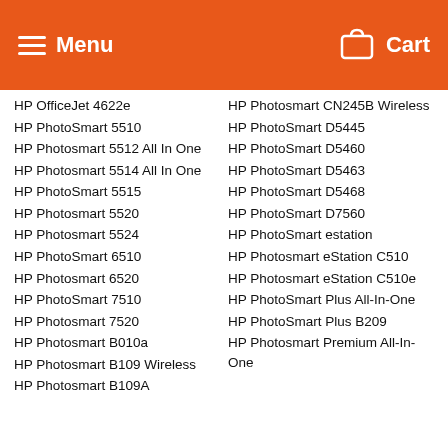Menu  Cart
HP OfficeJet 4622e
HP PhotoSmart 5510
HP Photosmart 5512 All In One
HP Photosmart 5514 All In One
HP PhotoSmart 5515
HP Photosmart 5520
HP Photosmart 5524
HP PhotoSmart 6510
HP Photosmart 6520
HP PhotoSmart 7510
HP Photosmart 7520
HP Photosmart B010a
HP Photosmart B109 Wireless
HP Photosmart B109A
HP Photosmart CN245B Wireless
HP PhotoSmart D5445
HP PhotoSmart D5460
HP PhotoSmart D5463
HP PhotoSmart D5468
HP PhotoSmart D7560
HP PhotoSmart estation
HP Photosmart eStation C510
HP Photosmart eStation C510e
HP PhotoSmart Plus All-In-One
HP PhotoSmart Plus B209
HP Photosmart Premium All-In-One